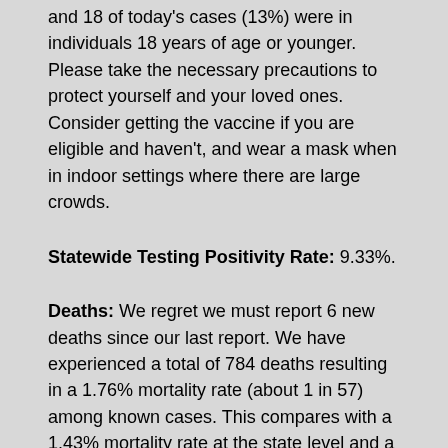and 18 of today's cases (13%) were in individuals 18 years of age or younger. Please take the necessary precautions to protect yourself and your loved ones. Consider getting the vaccine if you are eligible and haven't, and wear a mask when in indoor settings where there are large crowds.
Statewide Testing Positivity Rate: 9.33%.
Deaths: We regret we must report 6 new deaths since our last report. We have experienced a total of 784 deaths resulting in a 1.76% mortality rate (about 1 in 57) among known cases. This compares with a 1.43% mortality rate at the state level and a 1.58% mortality rate at the national level. Our hearts and prayers go out to all the families and friends who have lost loved ones.
Hospitalizations: We presently have 98 cases in the hospital. This is equal to what we reported in our last report. We have